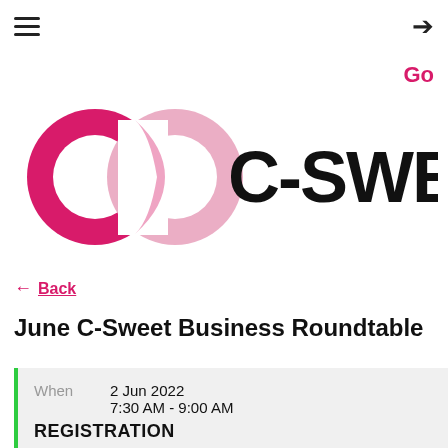≡  [login icon]
Go
[Figure (logo): C-Sweet logo: two interlocking C shapes in magenta/pink with text 'C-SWEET' in black]
← Back
June C-Sweet Business Roundtable
| When | Date/Time |
| --- | --- |
| When | 2 Jun 2022
7:30 AM - 9:00 AM |
REGISTRATION